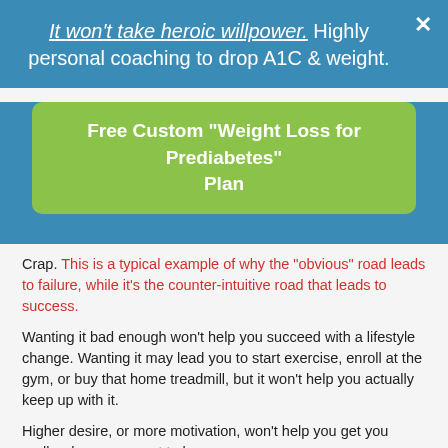It won't take heroic willpower. Highly personal coaching to drop A1C & weight.
[Figure (other): Green call-to-action button: Free Custom "Weight Loss for Prediabetes" Plan]
Crap. This is a typical example of why the "obvious" road leads to failure, while it's the counter-intuitive road that leads to success.
Wanting it bad enough won't help you succeed with a lifestyle change. Wanting it may lead you to start exercise, enroll at the gym, or buy that home treadmill, but it won't help you actually keep up with it.
Higher desire, or more motivation, won't help you get you really where you want to be.
Because what you really want is not to lose weight only to gain back. And then repeat this cycle over and over again.
What you want is not to get a flatter belly, only to get your jiggly...